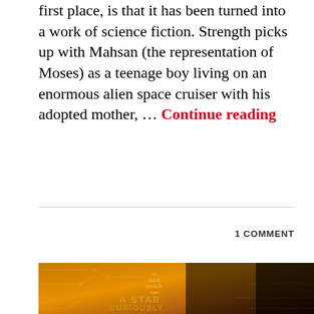first place, is that it has been turned into a work of science fiction. Strength picks up with Mahsan (the representation of Moses) as a teenage boy living on an enormous alien space cruiser with his adopted mother, … Continue reading
1 COMMENT
[Figure (photo): Book cover of 'A Star Curiously Singing' from The Dark Trench Saga, featuring a circuit-board pattern on a warm orange/brown gradient background with the title text in yellow. The right portion of the image is cropped into black.]